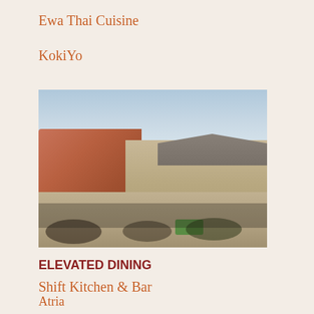Ewa Thai Cuisine
KokiYo
[Figure (photo): Outdoor patio dining scene with people seated at tables, red sandstone wall on the left, low building on the right, sunny day]
ELEVATED DINING
Shift Kitchen & Bar
Atria
Annex Cocktail Lounge